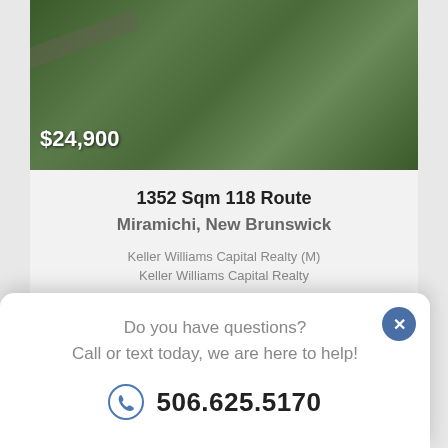[Figure (photo): Aerial satellite view of forested property with roads]
$24,900
1352 Sqm 118 Route
Miramichi, New Brunswick
Keller Williams Capital Realty (M)
Keller Williams Capital Realty
[Figure (photo): Aerial satellite view of forested land - FOR SALE]
FOR SALE
Do you have questions?
Call or text today, we are here to help!
506.625.5170